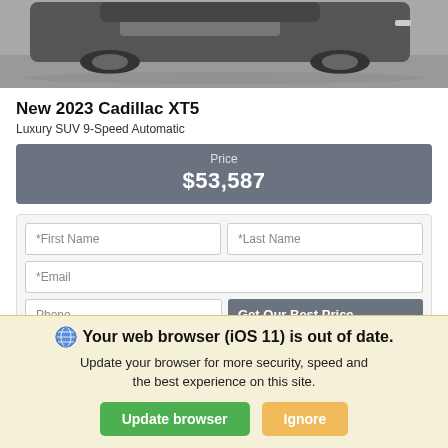[Figure (photo): Partial view of a dark-colored Cadillac XT5 SUV photographed from above on a gray surface]
New 2023 Cadillac XT5
Luxury SUV 9-Speed Automatic
Price
$53,587
*First Name
*Last Name
*Email
Phone
Get Our Best Price
WOLFE CADILLAC EDMONTON
Your web browser (iOS 11) is out of date.
Update your browser for more security, speed and the best experience on this site.
Update browser
Ignore